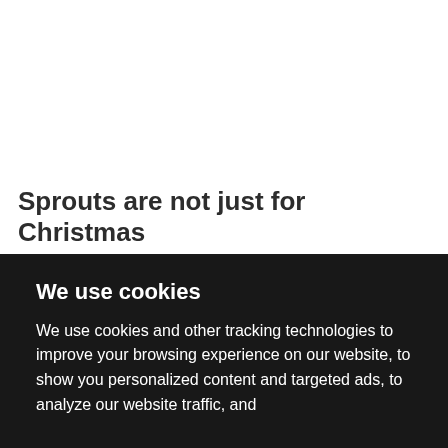Sprouts are not just for Christmas
We use cookies
We use cookies and other tracking technologies to improve your browsing experience on our website, to show you personalized content and targeted ads, to analyze our website traffic, and